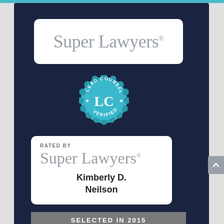[Figure (logo): Super Lawyers logo in white rounded rectangle on dark navy background]
[Figure (logo): Lead Counsel Verified (LC) badge seal in teal/blue color]
[Figure (logo): Rated by Super Lawyers badge card showing Kimberly D. Neilson, Selected in 2015]